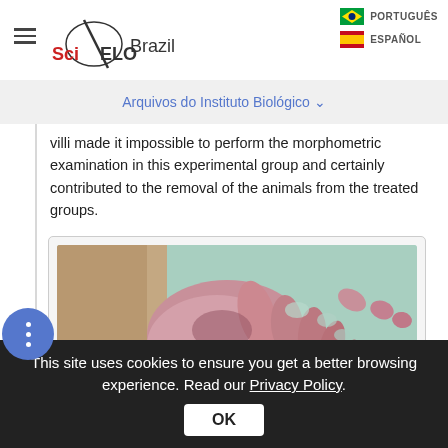SciELO Brazil | PORTUGUÊS | ESPAÑOL
Arquivos do Instituto Biológico ∨
villi made it impossible to perform the morphometric examination in this experimental group and certainly contributed to the removal of the animals from the treated groups.
[Figure (photo): Microscopic histological image showing intestinal villi structures, stained with hematoxylin and eosin, showing cross-sections of villi at various angles against a light green/teal background.]
This site uses cookies to ensure you get a better browsing experience. Read our Privacy Policy.